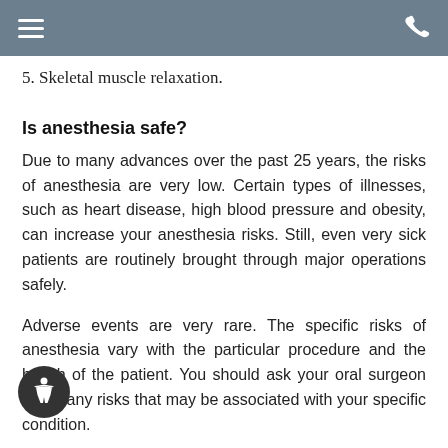5. Skeletal muscle relaxation.
Is anesthesia safe?
Due to many advances over the past 25 years, the risks of anesthesia are very low. Certain types of illnesses, such as heart disease, high blood pressure and obesity, can increase your anesthesia risks. Still, even very sick patients are routinely brought through major operations safely.
Adverse events are very rare. The specific risks of anesthesia vary with the particular procedure and the health of the patient. You should ask your oral surgeon about any risks that may be associated with your specific condition.